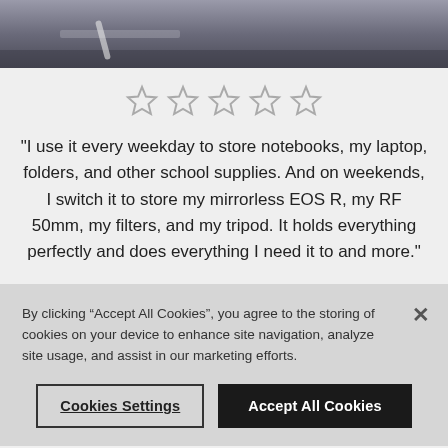[Figure (photo): Top portion of a dark backpack, partially cropped, showing zippers and straps]
"I use it every weekday to store notebooks, my laptop, folders, and other school supplies. And on weekends, I switch it to store my mirrorless EOS R, my RF 50mm, my filters, and my tripod. It holds everything perfectly and does everything I need it to and more."
By clicking “Accept All Cookies”, you agree to the storing of cookies on your device to enhance site navigation, analyze site usage, and assist in our marketing efforts.
Cookies Settings
Accept All Cookies